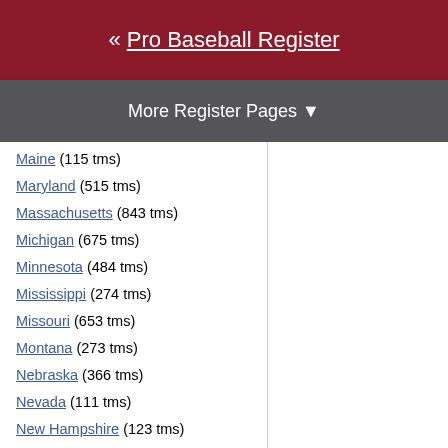« Pro Baseball Register
More Register Pages ▼
Maine (115 tms)
Maryland (515 tms)
Massachusetts (843 tms)
Michigan (675 tms)
Minnesota (484 tms)
Mississippi (274 tms)
Missouri (653 tms)
Montana (273 tms)
Nebraska (366 tms)
Nevada (111 tms)
New Hampshire (123 tms)
New Jersey (409 tms)
New Mexico (182 tms)
New York (2323 tms)
North Carolina (1498 tms)
North Dakota (121 tms)